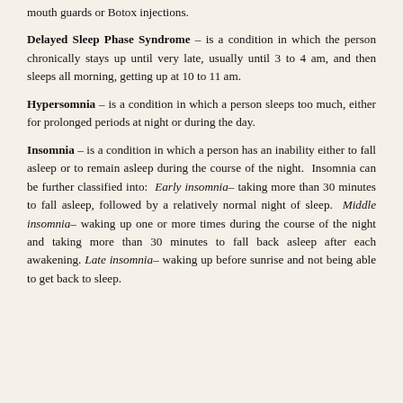mouth guards or Botox injections.
Delayed Sleep Phase Syndrome – is a condition in which the person chronically stays up until very late, usually until 3 to 4 am, and then sleeps all morning, getting up at 10 to 11 am.
Hypersomnia – is a condition in which a person sleeps too much, either for prolonged periods at night or during the day.
Insomnia – is a condition in which a person has an inability either to fall asleep or to remain asleep during the course of the night. Insomnia can be further classified into: Early insomnia– taking more than 30 minutes to fall asleep, followed by a relatively normal night of sleep. Middle insomnia– waking up one or more times during the course of the night and taking more than 30 minutes to fall back asleep after each awakening. Late insomnia– waking up before sunrise and not being able to get back to sleep.